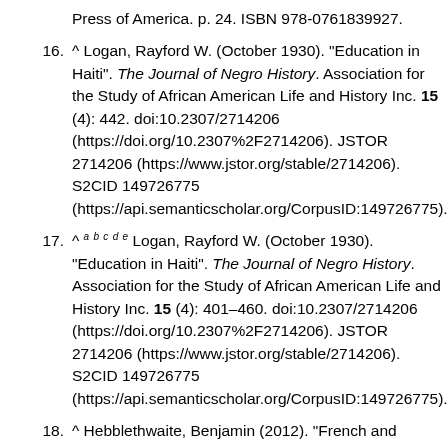Press of America. p. 24. ISBN 978-0761839927.
16. ^ Logan, Rayford W. (October 1930). "Education in Haiti". The Journal of Negro History. Association for the Study of African American Life and History Inc. 15 (4): 442. doi:10.2307/2714206 (https://doi.org/10.2307%2F2714206). JSTOR 2714206 (https://www.jstor.org/stable/2714206). S2CID 149726775 (https://api.semanticscholar.org/CorpusID:149726775).
17. ^ a b c d e Logan, Rayford W. (October 1930). "Education in Haiti". The Journal of Negro History. Association for the Study of African American Life and History Inc. 15 (4): 401–460. doi:10.2307/2714206 (https://doi.org/10.2307%2F2714206). JSTOR 2714206 (https://www.jstor.org/stable/2714206). S2CID 149726775 (https://api.semanticscholar.org/CorpusID:149726775).
18. ^ Hebblethwaite, Benjamin (2012). "French and